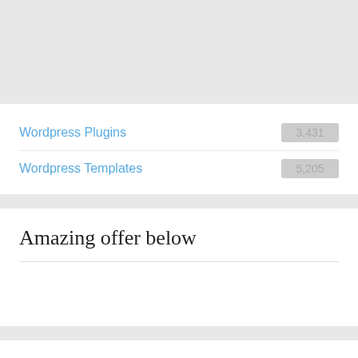Wordpress Plugins 3,431
Wordpress Templates 5,205
Amazing offer below
Recent Posts